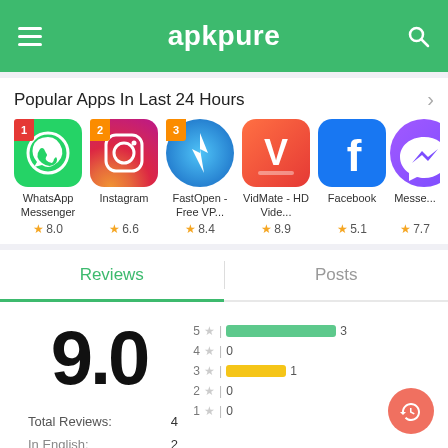apkpure
Popular Apps In Last 24 Hours
[Figure (screenshot): App icons row: WhatsApp Messenger (8.0), Instagram (6.6), FastOpen - Free VP... (8.4), VidMate - HD Vide... (8.9), Facebook (5.1), Messe... (7.7)]
Reviews | Posts
[Figure (bar-chart): Ratings distribution]
9.0
Total Reviews: 4
In English: 2